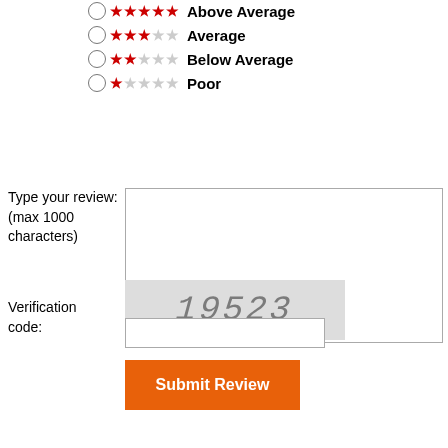Above Average
Average
Below Average
Poor
Type your review:
(max 1000 characters)
[Figure (other): CAPTCHA image with text 19523]
Verification code:
Submit Review